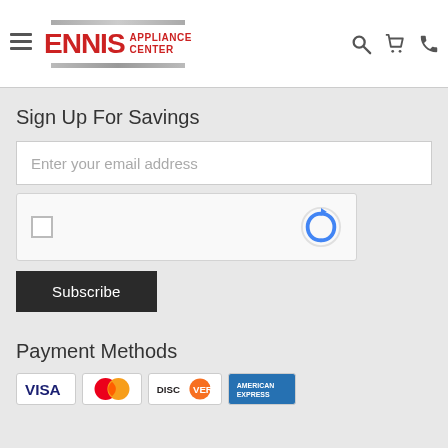[Figure (logo): Ennis Appliance Center logo with hamburger menu icon and navigation icons (search, cart, phone)]
Sign Up For Savings
[Figure (screenshot): Email input field with placeholder text 'Enter your email address']
[Figure (screenshot): reCAPTCHA widget with checkbox and reCAPTCHA logo]
[Figure (screenshot): Subscribe button]
Payment Methods
[Figure (screenshot): Payment method logos: Visa, MasterCard, Discover, American Express]